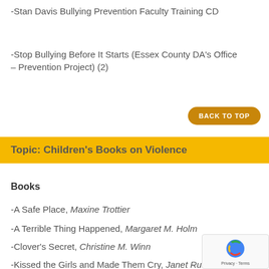-Stan Davis Bullying Prevention Faculty Training CD
-Stop Bullying Before It Starts (Essex County DA's Office – Prevention Project) (2)
Topic: Children's Books on Violence
Books
-A Safe Place, Maxine Trottier
-A Terrible Thing Happened, Margaret M. Holm
-Clover's Secret, Christine M. Winn
-Kissed the Girls and Made Them Cry, Janet Ruth